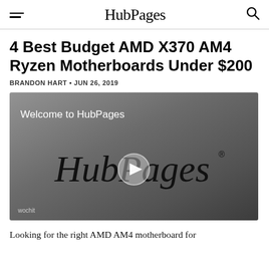HubPages
4 Best Budget AMD X370 AM4 Ryzen Motherboards Under $200
BRANDON HART • JUN 26, 2019
[Figure (screenshot): Video thumbnail showing 'Welcome to HubPages' text and HubPages logo with a play button overlay on a dark grey gradient background. 'wochit' watermark in bottom left.]
Looking for the right AMD AM4 motherboard for